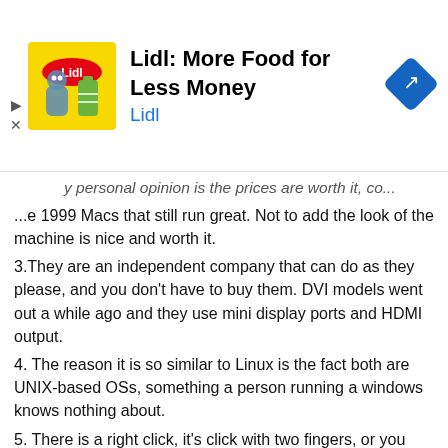[Figure (screenshot): Lidl advertisement banner: Lidl logo with yellow mascot, text 'Lidl: More Food for Less Money', blue 'Lidl' subtitle, and a blue diamond navigation icon on the right.]
y personal opinion is the prices are worth it, co...
...e 1999 Macs that still run great. Not to add the look of the machine is nice and worth it.
3.They are an independent company that can do as they please, and you don't have to buy them. DVI models went out a while ago and they use mini display ports and HDMI output.
4. The reason it is so similar to Linux is the fact both are UNIX-based OSs, something a person running a windows knows nothing about.
5. There is a right click, it's click with two fingers, or you can change that in settings.
6. All of these probelms can be changed with system setting or the user not being an idiot. Of course one still has to get used to the OS